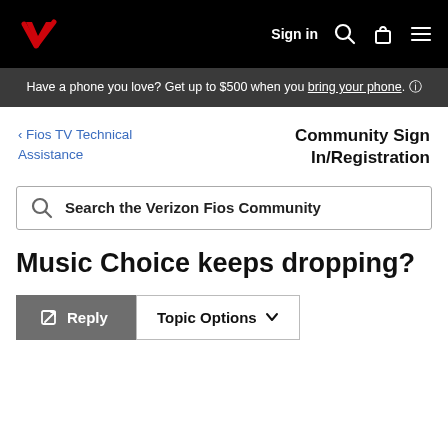Verizon navigation bar with logo, Sign in, search, bag, and menu icons
Have a phone you love? Get up to $500 when you bring your phone. (i)
< Fios TV Technical Assistance
Community Sign In/Registration
Search the Verizon Fios Community
Music Choice keeps dropping?
Reply   Topic Options